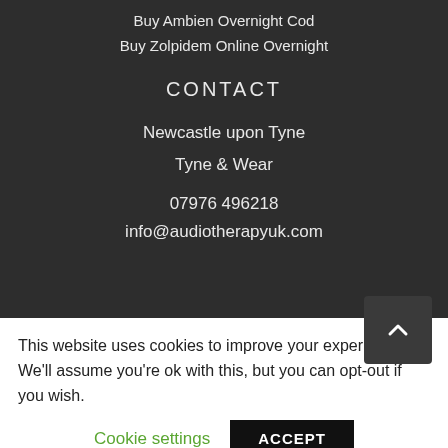Buy Ambien Overnight Cod
Buy Zolpidem Online Overnight
CONTACT
Newcastle upon Tyne
Tyne & Wear
07976 496218
info@audiotherapyuk.com
This website uses cookies to improve your experience. We'll assume you're ok with this, but you can opt-out if you wish.
Cookie settings
ACCEPT